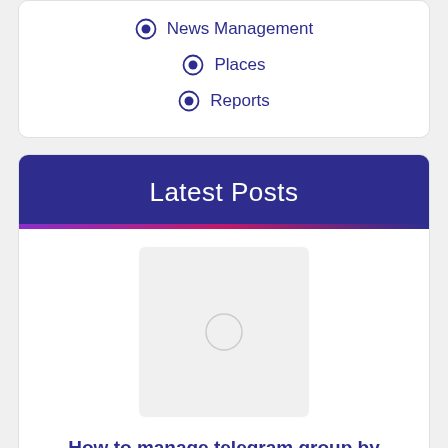News Management
Places
Reports
Latest Posts
[Figure (illustration): Placeholder image with a light gray background and a faint circle in the center]
How to manage telegram group by managing bot?
July 20, 2022